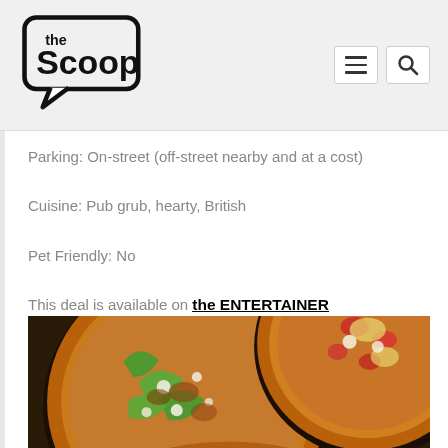the Scoop
Parking: On-street (off-street nearby and at a cost)
Cuisine: Pub grub, hearty, British
Pet Friendly: No
This deal is available on the ENTERTAINER app.
[Figure (photo): Two pizzas on dark cast iron pans on a wooden surface, one topped with green peppers, meat and white cheese, another with tomatoes and cheese visible in background; a third pizza partially visible at bottom.]